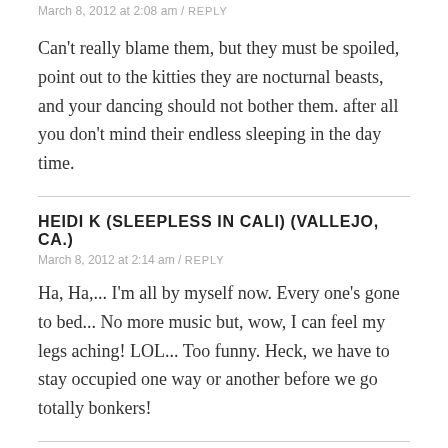March 8, 2012 at 2:08 am / REPLY
Can't really blame them, but they must be spoiled, point out to the kitties they are nocturnal beasts, and your dancing should not bother them. after all you don't mind their endless sleeping in the day time.
HEIDI K (SLEEPLESS IN CALI) (VALLEJO, CA.)
March 8, 2012 at 2:14 am / REPLY
Ha, Ha,... I'm all by myself now. Every one's gone to bed... No more music but, wow, I can feel my legs aching! LOL... Too funny. Heck, we have to stay occupied one way or another before we go totally bonkers!
CAROLYN CASWELL-BROWN